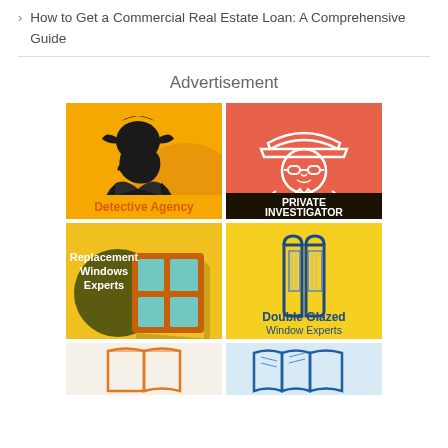How to Get a Commercial Real Estate Loan: A Comprehensive Guide
Advertisement
[Figure (illustration): 2x2 grid of advertisement tiles: Detective Agency (yellow/black with Sherlock Holmes silhouette), Private Investigator (salmon/black with spy illustration), Replacement Windows Experts (dark olive/yellow with window illustration), Double Glazed Window Experts (yellow with blue window icon). Partial bottom row with two more tiles.]